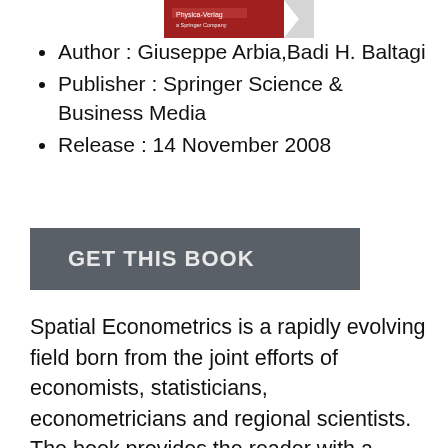[Figure (illustration): Book cover image partially visible at the top, showing a red/maroon cover with Physica-Verlag publisher branding.]
Author : Giuseppe Arbia,Badi H. Baltagi
Publisher : Springer Science & Business Media
Release : 14 November 2008
GET THIS BOOK
Spatial Econometrics is a rapidly evolving field born from the joint efforts of economists, statisticians, econometricians and regional scientists. The book provides the reader with a broad view of the topic by including both methodological and application papers. Indeed the application papers relate to a number of diverse scientific fields ranging from hedonic models of house pricing to demography, from health